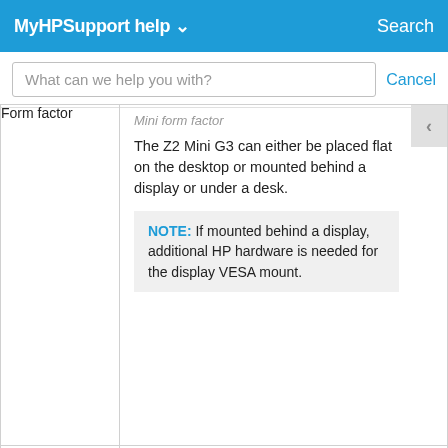MyHPSupport help ∨   Search
What can we help you with?   Cancel
|  |  |
| --- | --- |
| Form factor | Mini form factor
The Z2 Mini G3 can either be placed flat on the desktop or mounted behind a display or under a desk.
NOTE: If mounted behind a display, additional HP hardware is needed for the display VESA mount. |
| Dimensions | 58.0 x 216.0 x 216.0 mm (2.28 x 8.5 x 8.5 in) |